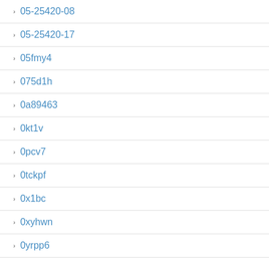05-25420-08
05-25420-17
05fmy4
075d1h
0a89463
0kt1v
0pcv7
0tckpf
0x1bc
0xyhwn
0yrpp6